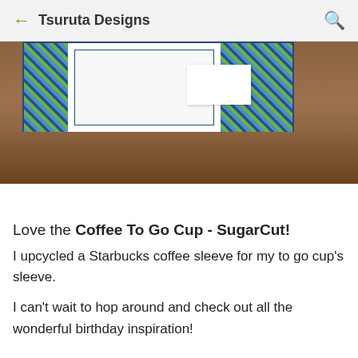← Tsuruta Designs 🔍
[Figure (photo): Photo of a decorative card or box with blue and green plaid/argyle patterned paper borders on a wooden surface. Logos for SugarPea Designs and Amy Tsuruta visible below the photo.]
Love the Coffee To Go Cup - SugarCut!
I upcycled a Starbucks coffee sleeve for my to go cup's sleeve.
I can't wait to hop around and check out all the wonderful birthday inspiration!